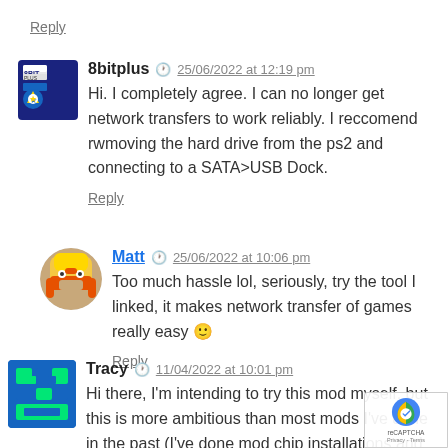Reply
8bitplus  25/06/2022 at 12:19 pm
Hi. I completely agree. I can no longer get network transfers to work reliably. I reccomend rwmoving the hard drive from the ps2 and connecting to a SATA>USB Dock.
Reply
Matt  25/06/2022 at 10:06 pm
Too much hassle lol, seriously, try the tool I linked, it makes network transfer of games really easy 🙂
Reply
Tracy  11/04/2022 at 10:01 pm
Hi there, I'm intending to try this mod myself, but this is more ambitious than most mods I've done in the past (I've done mod chip installations and such but never...